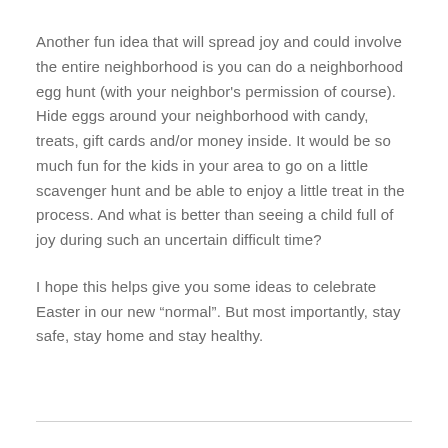Another fun idea that will spread joy and could involve the entire neighborhood is you can do a neighborhood egg hunt (with your neighbor's permission of course). Hide eggs around your neighborhood with candy, treats, gift cards and/or money inside. It would be so much fun for the kids in your area to go on a little scavenger hunt and be able to enjoy a little treat in the process. And what is better than seeing a child full of joy during such an uncertain difficult time?
I hope this helps give you some ideas to celebrate Easter in our new “normal”. But most importantly, stay safe, stay home and stay healthy.